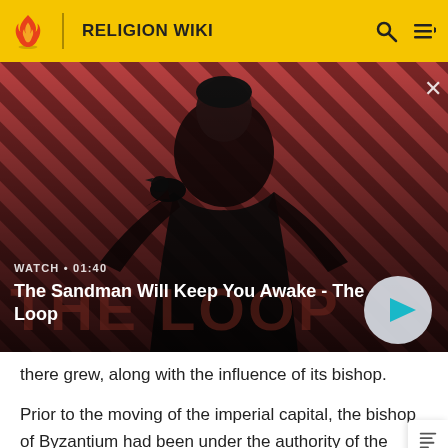RELIGION WIKI
[Figure (screenshot): Video thumbnail for 'The Sandman Will Keep You Awake - The Loop' showing a dark-clad figure with a raven against a red diagonal-striped background. Duration: 01:40. Includes a play button.]
WATCH • 01:40
The Sandman Will Keep You Awake - The Loop
there grew, along with the influence of its bishop.
Prior to the moving of the imperial capital, the bishop of Byzantium had been under the authority of the metropolitan of Ephesus, but beginning in the 4th century,